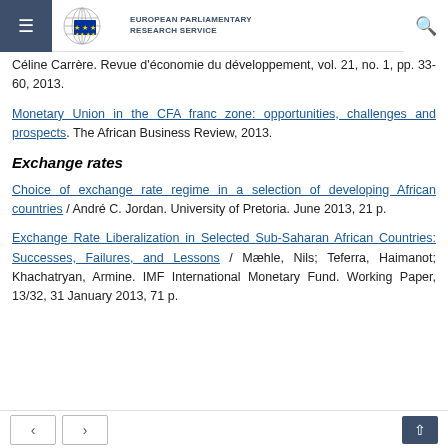European Parliamentary Research Service
Céline Carrère. Revue d'économie du développement, vol. 21, no. 1, pp. 33-60, 2013.
Monetary Union in the CFA franc zone: opportunities, challenges and prospects. The African Business Review, 2013.
Exchange rates
Choice of exchange rate regime in a selection of developing African countries / André C. Jordan. University of Pretoria. June 2013, 21 p.
Exchange Rate Liberalization in Selected Sub-Saharan African Countries: Successes, Failures, and Lessons / Mæhle, Nils; Teferra, Haimanot; Khachatryan, Armine. IMF International Monetary Fund. Working Paper, 13/32, 31 January 2013, 71 p.
Navigation: previous, next, scroll to top